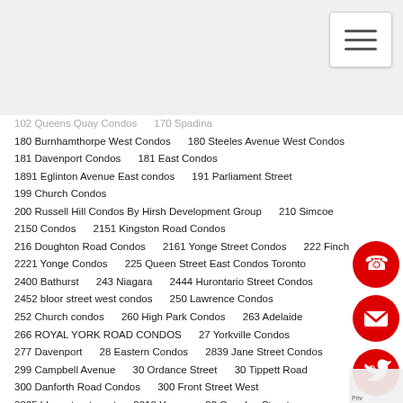(hamburger menu icon)
102 Queens Quay Condos    170 Spadina
180 Burnhamthorpe West Condos    180 Steeles Avenue West Condos
181 Davenport Condos    181 East Condos
1891 Eglinton Avenue East condos    191 Parliament Street
199 Church Condos
200 Russell Hill Condos By Hirsh Development Group    210 Simcoe
2150 Condos    2151 Kingston Road Condos
216 Doughton Road Condos    2161 Yonge Street Condos    222 Finch
2221 Yonge Condos    225 Queen Street East Condos Toronto
2400 Bathurst    243 Niagara    2444 Hurontario Street Condos
2452 bloor street west condos    250 Lawrence Condos
252 Church condos    260 High Park Condos    263 Adelaide
266 ROYAL YORK ROAD CONDOS    27 Yorkville Condos
277 Davenport    28 Eastern Condos    2839 Jane Street Condos
299 Campbell Avenue    30 Ordance Street    30 Tippett Road
300 Danforth Road Condos    300 Front Street West
3005 bloor street west    3018 Yonge    32 Camden Street
32 Raglan Avenue Condos    3201 Highway 7 W Condos
321 Davenport Condos    33 Bay at Pinnacle Centre
330 Richmond Condos    332 High Park
334 BLOOR STREET CONDOS
3471 LAKE SHORE CONDOS IN ETOBICOKE